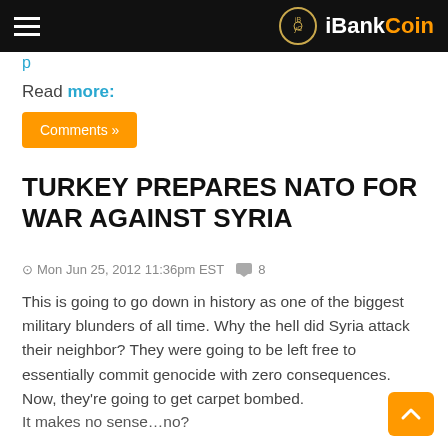iBankCoin
Read more:
Comments »
TURKEY PREPARES NATO FOR WAR AGAINST SYRIA
Mon Jun 25, 2012 11:36pm EST  8
This is going to go down in history as one of the biggest military blunders of all time. Why the hell did Syria attack their neighbor? They were going to be left free to essentially commit genocide with zero consequences. Now, they're going to get carpet bombed.
It makes no sense…no?